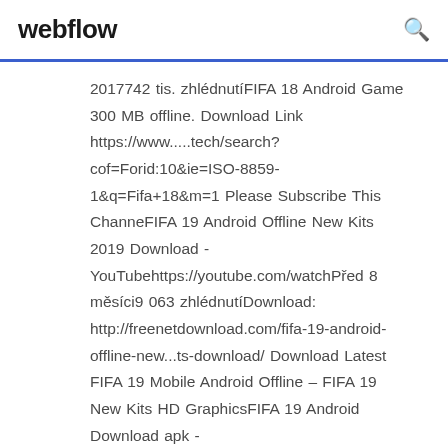webflow
2017742 tis. zhlédnutíFIFA 18 Android Game 300 MB offline. Download Link https://www.....tech/search?cof=Forid:10&ie=ISO-8859-1&q=Fifa+18&m=1 Please Subscribe This ChanneFIFA 19 Android Offline New Kits 2019 Download - YouTubehttps://youtube.com/watchPřed 8 měsíci9 063 zhlédnutíDownload: http://freenetdownload.com/fifa-19-android-offline-new...ts-download/ Download Latest FIFA 19 Mobile Android Offline – FIFA 19 New Kits HD GraphicsFIFA 19 Android Download apk - YouTubehttps://youtube.com/watchPřed 10 měsíci5 264 zhlédnutíFIFA 19 Android Download apk http://bit.ly/2Y75wTi FIFA 19 is a sports